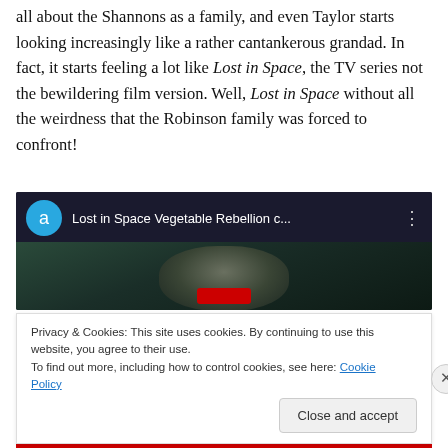all about the Shannons as a family, and even Taylor starts looking increasingly like a rather cantankerous grandad. In fact, it starts feeling a lot like Lost in Space, the TV series not the bewildering film version. Well, Lost in Space without all the weirdness that the Robinson family was forced to confront!
[Figure (screenshot): YouTube video thumbnail showing 'Lost in Space Vegetable Rebellion c...' with a blue avatar circle with letter 'a', dark video frame with blurred face]
Privacy & Cookies: This site uses cookies. By continuing to use this website, you agree to their use.
To find out more, including how to control cookies, see here: Cookie Policy